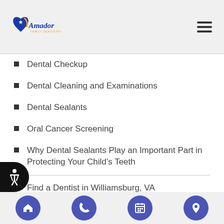Amador Family Dentistry
Dental Checkup
Dental Cleaning and Examinations
Dental Sealants
Oral Cancer Screening
Why Dental Sealants Play an Important Part in Protecting Your Child’s Teeth
Find a Dentist in Williamsburg, VA
Search
Home | Phone | Calendar | Location